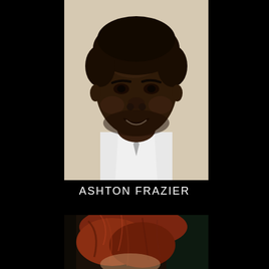[Figure (photo): Headshot photo of a young man smiling, wearing a white shirt, against a beige/neutral background. Photo is positioned in the upper-center of the page on a black background.]
ASHTON FRAZIER
[Figure (photo): Partial photo of a person with red/auburn wavy hair, showing the top of head and forehead, against a dark background. Photo is positioned in the lower-center of the page.]